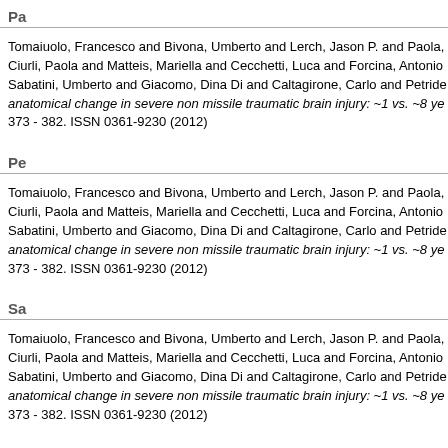Pa
Tomaiuolo, Francesco and Bivona, Umberto and Lerch, Jason P. and Paola, Ciurli, Paola and Matteis, Mariella and Cecchetti, Luca and Forcina, Antonio Sabatini, Umberto and Giacomo, Dina Di and Caltagirone, Carlo and Petride anatomical change in severe non missile traumatic brain injury: ~1 vs. ~8 ye 373 - 382. ISSN 0361-9230 (2012)
Pe
Tomaiuolo, Francesco and Bivona, Umberto and Lerch, Jason P. and Paola, Ciurli, Paola and Matteis, Mariella and Cecchetti, Luca and Forcina, Antonio Sabatini, Umberto and Giacomo, Dina Di and Caltagirone, Carlo and Petride anatomical change in severe non missile traumatic brain injury: ~1 vs. ~8 ye 373 - 382. ISSN 0361-9230 (2012)
Sa
Tomaiuolo, Francesco and Bivona, Umberto and Lerch, Jason P. and Paola, Ciurli, Paola and Matteis, Mariella and Cecchetti, Luca and Forcina, Antonio Sabatini, Umberto and Giacomo, Dina Di and Caltagirone, Carlo and Petride anatomical change in severe non missile traumatic brain injury: ~1 vs. ~8 ye 373 - 382. ISSN 0361-9230 (2012)
Si
Tomaiuolo, Francesco and Bivona, Umberto and Lerch, Jason P. and Paola, Ciurli, Paola and Matteis, Mariella and Cecchetti, Luca and Forcina, Antonio